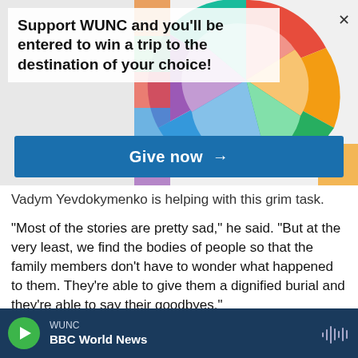Support WUNC and you'll be entered to win a trip to the destination of your choice!
Give now →
Vadym Yevdokymenko is helping with this grim task.
"Most of the stories are pretty sad," he said. "But at the very least, we find the bodies of people so that the family members don't have to wonder what happened to them. They're able to give them a dignified burial and they're able to say their goodbyes."
WUNC BBC World News